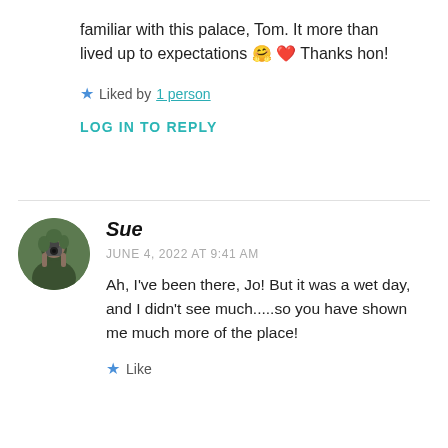familiar with this palace, Tom. It more than lived up to expectations 🤗 ❤️ Thanks hon!
★ Liked by 1 person
LOG IN TO REPLY
[Figure (photo): Circular avatar photo of Sue, a person outdoors holding a camera]
Sue
JUNE 4, 2022 AT 9:41 AM
Ah, I've been there, Jo! But it was a wet day, and I didn't see much.....so you have shown me much more of the place!
★ Like